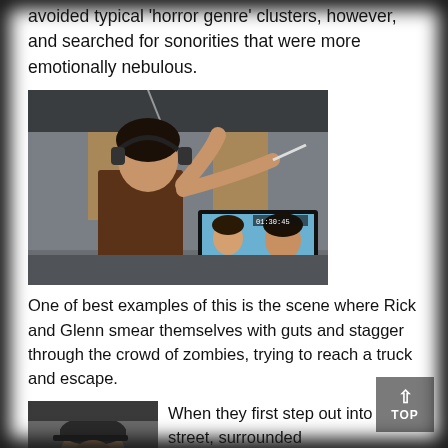avoided typical 'horror genre' clusters, however, and searched for sonorities that were more emotionally nebulous.
[Figure (photo): A person wearing headphones holding a conductor's baton with one hand raised, standing in front of a monitor/screen showing video footage in a recording studio setting.]
One of best examples of this is the scene where Rick and Glenn smear themselves with guts and stagger through the crowd of zombies, trying to reach a truck and escape.
[Figure (photo): A person wearing a cap, partially visible photo at the bottom left of the page.]
When they first step out into the street, surrounded